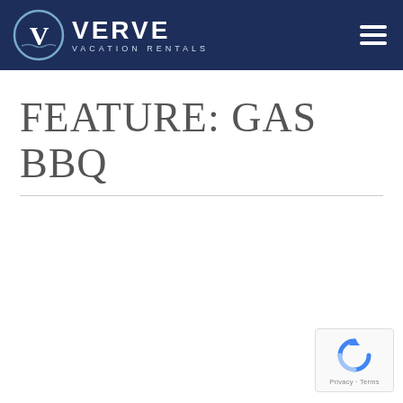VERVE VACATION RENTALS
FEATURE: GAS BBQ
[Figure (logo): reCAPTCHA badge with circular arrow icon and text Privacy - Terms]